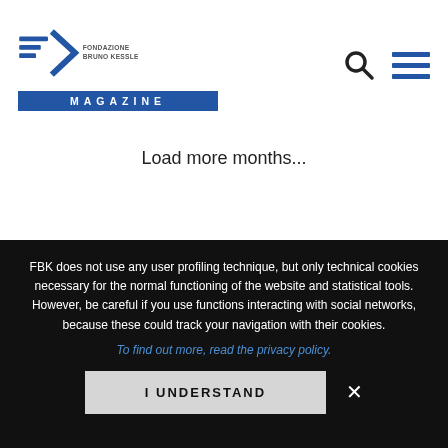Fondazione Bruno Kessler Magazine
Load more months...
NEWSLETTER
FBK does not use any user profiling technique, but only technical cookies necessary for the normal functioning of the website and statistical tools. However, be careful if you use functions interacting with social networks, because these could track your navigation with their cookies.
To find out more, read the privacy policy.
I UNDERSTAND